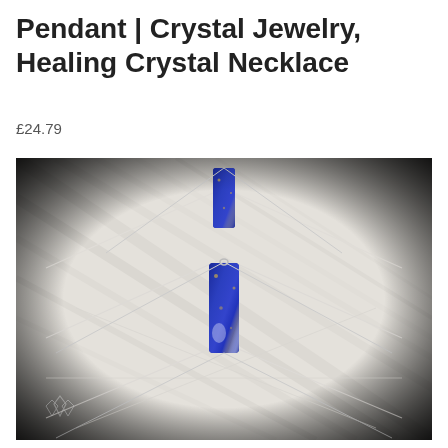Pendant | Crystal Jewelry, Healing Crystal Necklace
£24.79
[Figure (photo): Photo of two lapis lazuli rectangular bar pendants on silver chain necklaces, displayed on a whitewashed wooden background with black vignette edges. A small crystal logo is visible in the lower left corner.]